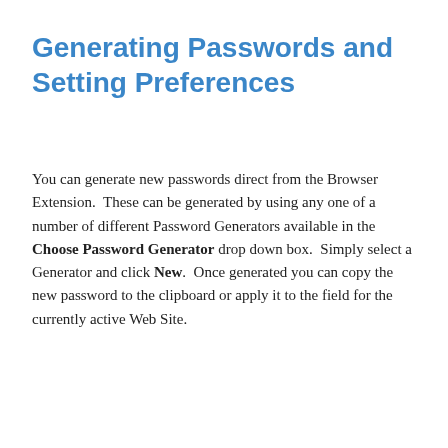Generating Passwords and Setting Preferences
You can generate new passwords direct from the Browser Extension.  These can be generated by using any one of a number of different Password Generators available in the Choose Password Generator drop down box.  Simply select a Generator and click New.  Once generated you can copy the new password to the clipboard or apply it to the field for the currently active Web Site.